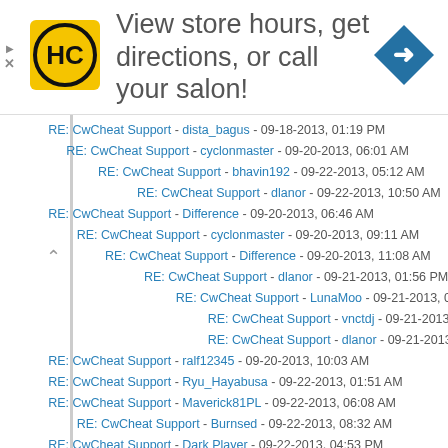[Figure (advertisement): HC salon store hours advertisement banner with logo and navigation arrow icon]
RE: CwCheat Support - dista_bagus - 09-18-2013, 01:19 PM
RE: CwCheat Support - cyclonmaster - 09-20-2013, 06:01 AM
RE: CwCheat Support - bhavin192 - 09-22-2013, 05:12 AM
RE: CwCheat Support - dlanor - 09-22-2013, 10:50 AM
RE: CwCheat Support - Difference - 09-20-2013, 06:46 AM
RE: CwCheat Support - cyclonmaster - 09-20-2013, 09:11 AM
RE: CwCheat Support - Difference - 09-20-2013, 11:08 AM
RE: CwCheat Support - dlanor - 09-21-2013, 01:56 PM
RE: CwCheat Support - LunaMoo - 09-21-2013, 02:31 PM
RE: CwCheat Support - vnctdj - 09-21-2013, 02:35 PM
RE: CwCheat Support - dlanor - 09-21-2013, 04:41 PM
RE: CwCheat Support - ralf12345 - 09-20-2013, 10:03 AM
RE: CwCheat Support - Ryu_Hayabusa - 09-22-2013, 01:51 AM
RE: CwCheat Support - Maverick81PL - 09-22-2013, 06:08 AM
RE: CwCheat Support - Burnsed - 09-22-2013, 08:32 AM
RE: CwCheat Support - Dark Player - 09-22-2013, 04:53 PM
RE: CwCheat Support - darksky5992 - 09-24-2013, 04:48 AM
RE: CwCheat Support - SeiRyuu - 09-24-2013, 05:02 AM
RE: CwCheat Support - darksky5992 - 09-24-2013, 05:19 AM
RE: CwCheat Support - SeiRyuu - 09-24-2013, 05:45 AM